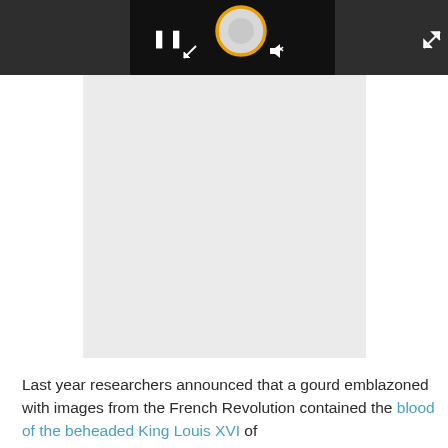[Figure (screenshot): Video player UI with dark gray control bar showing pause button, resize arrow, and speaker/mute icon with circular loading/play indicator with yellow ring outline. Below the bar is a large light gray video content area (placeholder).]
Last year researchers announced that a gourd emblazoned with images from the French Revolution contained the blood of the beheaded King Louis XVI of